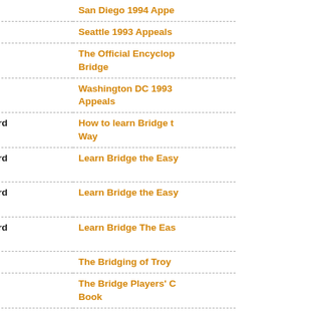| Author | Title |
| --- | --- |
| ACBL | San Diego 1994 Appe... |
| ACBL | Seattle 1993 Appeals |
| ACBL | The Official Encyclop... Bridge |
| ACBL | Washington DC 1993 Appeals |
| ACE Playing Card Company | How to learn Bridge t... Way |
| ACE Playing Card Company | Learn Bridge the Easy... |
| ACE Playing Card Company | Learn Bridge the Easy... |
| ACE Playing Card Company | Learn Bridge The Eas... |
| Ackerley, C | The Bridging of Troy |
| ACT Bridge Association | The Bridge Players' C... Book |